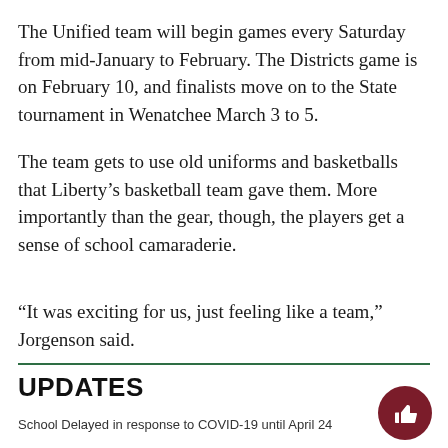The Unified team will begin games every Saturday from mid-January to February. The Districts game is on February 10, and finalists move on to the State tournament in Wenatchee March 3 to 5.
The team gets to use old uniforms and basketballs that Liberty’s basketball team gave them. More importantly than the gear, though, the players get a sense of school camaraderie.
“It was exciting for us, just feeling like a team,” Jorgenson said.
UPDATES
School Delayed in response to COVID-19 until April 24